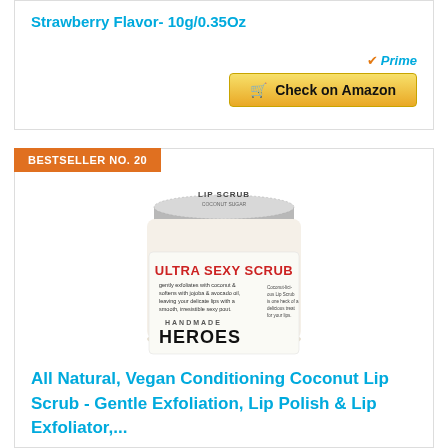Strawberry Flavor- 10g/0.35Oz
[Figure (other): Prime badge with checkmark logo]
[Figure (other): Check on Amazon button with cart icon]
BESTSELLER NO. 20
[Figure (photo): Handmade Heroes Ultra Sexy Scrub lip scrub product jar with silver lid, showing label text: ULTRA SEXY SCRUB, gently exfoliates with coconut & softens with jojoba & avocado oil, leaving your delicate lips with a smooth, irresistible sexy pout. HANDMADE HEROES.]
All Natural, Vegan Conditioning Coconut Lip Scrub - Gentle Exfoliation, Lip Polish & Lip Exfoliator,...